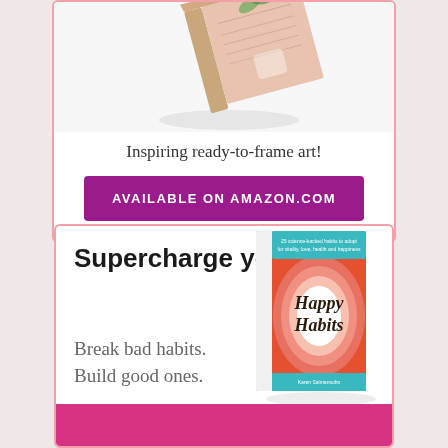[Figure (illustration): Book shown at an angle, appearing to be an art book with colorful prints inside, partially visible at top of first card]
Inspiring ready-to-frame art!
AVAILABLE ON AMAZON.COM
Supercharge your life.
[Figure (illustration): Book cover of 'Happy Habits' showing colorful retro wave design in pink, orange, teal colors with script title text]
Break bad habits. Build good ones.